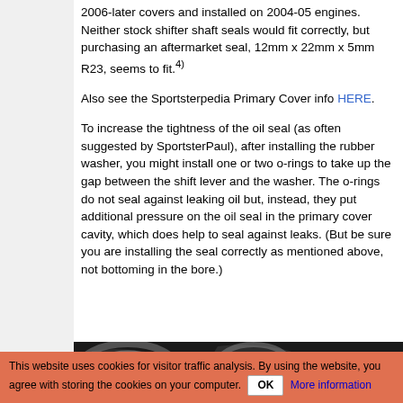2006-later covers and installed on 2004-05 engines. Neither stock shifter shaft seals would fit correctly, but purchasing an aftermarket seal, 12mm x 22mm x 5mm R23, seems to fit.[4]
Also see the Sportsterpedia Primary Cover info HERE.
To increase the tightness of the oil seal (as often suggested by SportsterPaul), after installing the rubber washer, you might install one or two o-rings to take up the gap between the shift lever and the washer. The o-rings do not seal against leaking oil but, instead, they put additional pressure on the oil seal in the primary cover cavity, which does help to seal against leaks. (But be sure you are installing the seal correctly as mentioned above, not bottoming in the bore.)
[Figure (photo): Close-up photo of metallic engine parts with swirling chrome/metal components visible against a dark background.]
This website uses cookies for visitor traffic analysis. By using the website, you agree with storing the cookies on your computer. OK More information